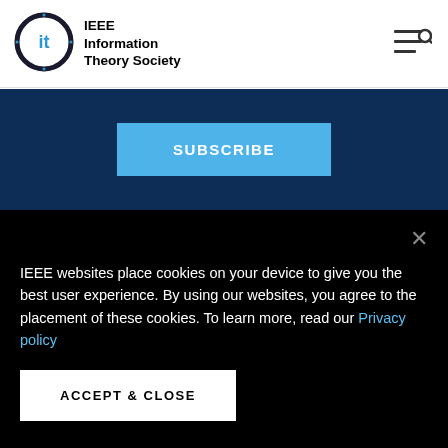[Figure (logo): IEEE Information Theory Society circular logo with stylized 'it' in blue]
IEEE Information Theory Society
[Figure (other): Hamburger menu icon with search (three horizontal lines and magnifying glass)]
SUBSCRIBE
IEEE websites place cookies on your device to give you the best user experience. By using our websites, you agree to the placement of these cookies. To learn more, read our Privacy policy
ACCEPT & CLOSE